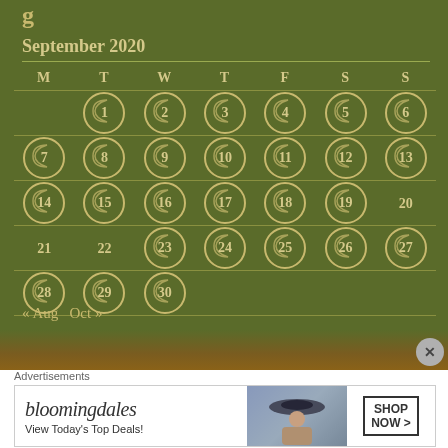September 2020
| M | T | W | T | F | S | S |
| --- | --- | --- | --- | --- | --- | --- |
|  | 1 | 2 | 3 | 4 | 5 | 6 |
| 7 | 8 | 9 | 10 | 11 | 12 | 13 |
| 14 | 15 | 16 | 17 | 18 | 19 | 20 |
| 21 | 22 | 23 | 24 | 25 | 26 | 27 |
| 28 | 29 | 30 |  |  |  |  |
<< Aug  Oct >>
Advertisements
[Figure (illustration): Bloomingdale's advertisement banner with logo, tagline 'View Today's Top Deals!', photo of woman in wide-brim hat, and 'SHOP NOW >' button]